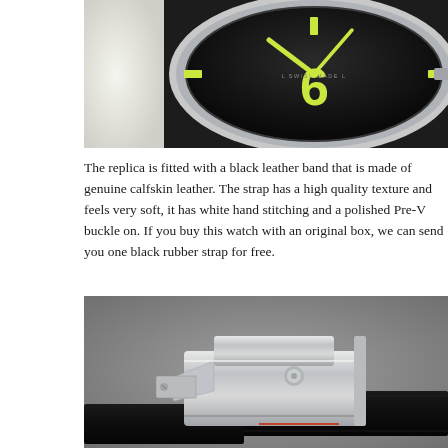[Figure (photo): Close-up photo of a Panerai-style watch face showing the number 6 in luminous yellow-green on a black dial, with 'Swiss Made' text, held by a gloved hand. Silver/polished bezel visible.]
The replica is fitted with a black leather band that is made of genuine calfskin leather. The strap has a high quality texture and feels very soft, it has white hand stitching and a polished Pre-V buckle on. If you buy this watch with an original box, we can send you one black rubber strap for free.
[Figure (photo): Close-up photo of a watch clasp/buckle mechanism on a black leather strap. The polished stainless steel Pre-V buckle is shown in detail against a grey textured background.]